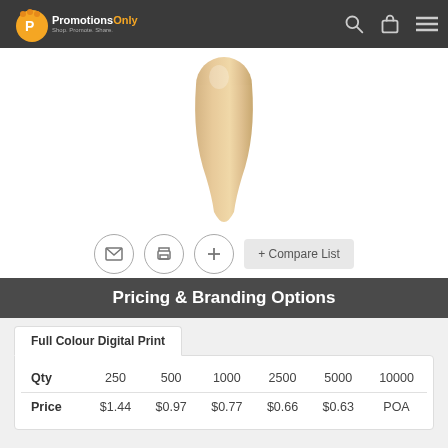PromotionsOnly
[Figure (photo): A wooden stick or paddle viewed from above, pale beige color, showing the top rounded end and narrow handle portion]
[Figure (infographic): Row of circular icon buttons: email envelope icon, print icon, plus/add icon, and a Compare List button]
Pricing & Branding Options
| Qty | 250 | 500 | 1000 | 2500 | 5000 | 10000 |
| --- | --- | --- | --- | --- | --- | --- |
| Price | $1.44 | $0.97 | $0.77 | $0.66 | $0.63 | POA |